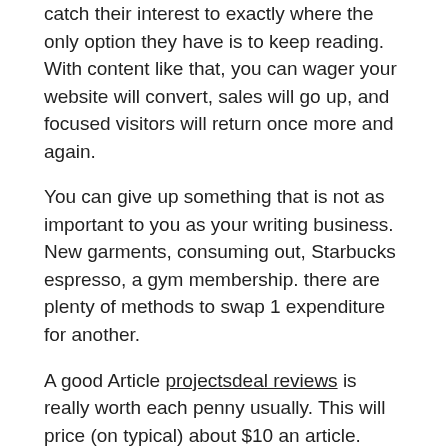catch their interest to exactly where the only option they have is to keep reading. With content like that, you can wager your website will convert, sales will go up, and focused visitors will return once more and again.
You can give up something that is not as important to you as your writing business. New garments, consuming out, Starbucks espresso, a gym membership. there are plenty of methods to swap 1 expenditure for another.
A good Article projectsdeal reviews is really worth each penny usually. This will price (on typical) about $10 an article. There are some who are cheaper and some dearer. Don't spend until you have assessed the quality of their creating skills.
"Write local" functions for other sorts of creating as well. For instance, an simple way for new writers to begin is by writing resumes for individuals who are searching for new